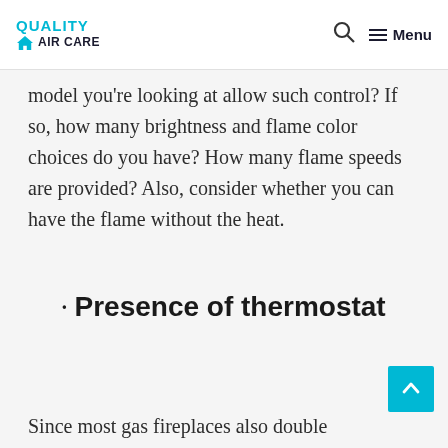QUALITY AIR CARE — Menu
model you're looking at allow such control? If so, how many brightness and flame color choices do you have? How many flame speeds are provided? Also, consider whether you can have the flame without the heat.
Presence of thermostat
Since most gas fireplaces also double